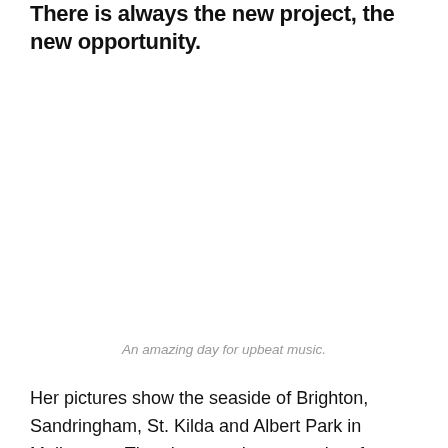There is always the new project, the new opportunity.
An amazing day for upbeat music.
Her pictures show the seaside of Brighton, Sandringham, St. Kilda and Albert Park in Melbourne. The photographs were taken from a Robinson helicopter with the door off: "I hang